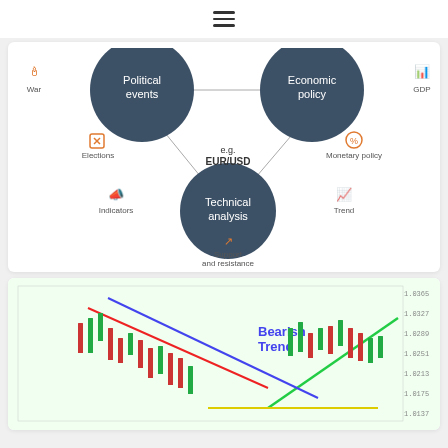☰
[Figure (flowchart): Diagram showing factors affecting EUR/USD: Political events (top left circle), Economic policy (top right circle), Technical analysis (bottom center circle). Surrounding labels: War, GDP, Elections, Monetary policy, Indicators, Trend, Support and resistance. Lines connect the circles. Center label: e.g. EUR/USD.]
[Figure (screenshot): Financial candlestick chart showing Bearish Trend annotated in blue text, with red and blue trend lines descending and a green upward trend on the right side. Yellow and green support lines visible at the bottom.]